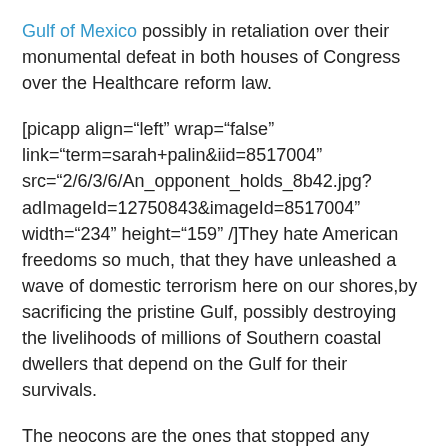Gulf of Mexico possibly in retaliation over their monumental defeat in both houses of Congress over the Healthcare reform law.
[picapp align="left" wrap="false" link="term=sarah+palin&iid=8517004" src="2/6/3/6/An_opponent_holds_8b42.jpg?adImageId=12750843&imageId=8517004" width="234" height="159" /]They hate American freedoms so much, that they have unleashed a wave of domestic terrorism here on our shores,by sacrificing the pristine Gulf, possibly destroying the livelihoods of millions of Southern coastal dwellers that depend on the Gulf for their survivals.
The neocons are the ones that stopped any government oversight and regulation of the destructive offshore oil drilling industry, they take payoffs from big offshore oil